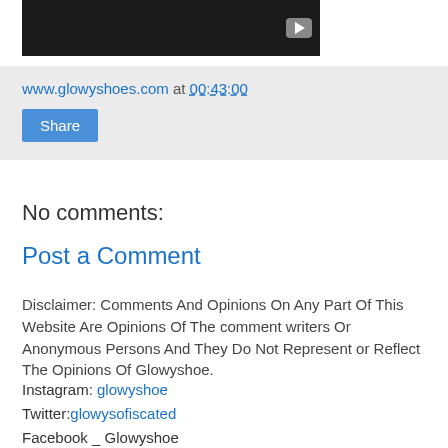[Figure (screenshot): Video thumbnail with dark background and YouTube play button icon in top right]
www.glowyshoes.com at 00:43:00
Share
No comments:
Post a Comment
Disclaimer: Comments And Opinions On Any Part Of This Website Are Opinions Of The comment writers Or Anonymous Persons And They Do Not Represent or Reflect The Opinions Of Glowyshoe.
Instagram: glowyshoe
Twitter:glowysofiscated
Facebook _ Glowyshoe
GooglePlus_ GloryEkarika
LinkedIn _ GloryEkarika
Email _ glowyshoeds@gmail.com